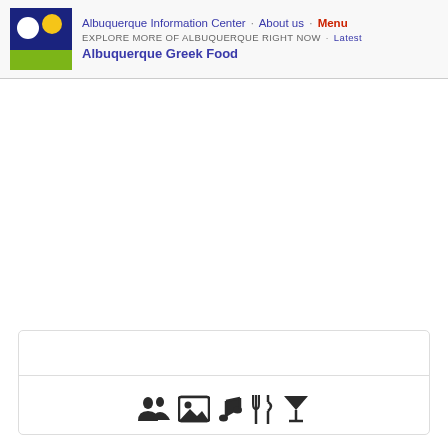Albuquerque Information Center · About us · Menu — EXPLORE MORE OF ALBUQUERQUE RIGHT NOW · Latest — Albuquerque Greek Food
[Figure (other): Card section with a horizontal divider and row of icons: people/group, image/photo, music note, fork and knife, cocktail glass]
[Figure (logo): Albuquerque Information Center logo: dark blue square with white circle and yellow circle, green rectangle at bottom]